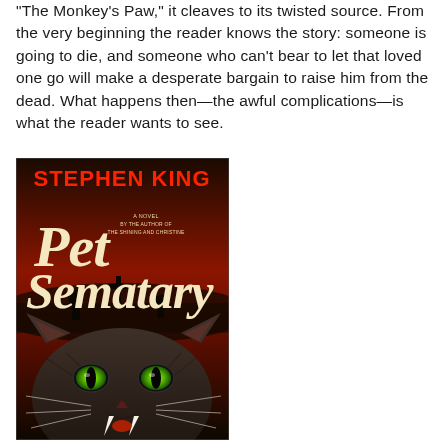"The Monkey's Paw," it cleaves to its twisted source. From the very beginning the reader knows the story: someone is going to die, and someone who can't bear to let that loved one go will make a desperate bargain to raise him from the dead. What happens then—the awful complications—is what the reader wants to see.
[Figure (illustration): Book cover of Pet Sematary by Stephen King. Red text 'STEPHEN KING' at top, large cream/tan letters spelling 'Pet Sematary' in the middle, with subtitle text 'A Novel by the author of The Shining and Christine'. Dark background showing a cross/graveyard silhouette, and at the bottom a close-up of a menacing cat with glowing green eyes and bared fangs.]